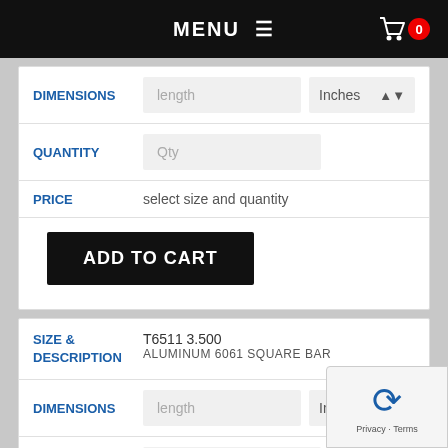MENU ☰
DIMENSIONS
length | Inches
QUANTITY
Qty
PRICE
select size and quantity
ADD TO CART
SIZE & DESCRIPTION
T6511 3.500
ALUMINUM 6061 SQUARE BAR
DIMENSIONS
length | Inches
QUANTITY
Qty